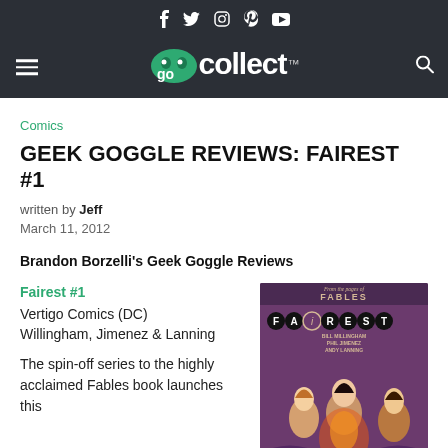gocollect — social icons: f, twitter, instagram, pinterest, youtube
Comics
GEEK GOGGLE REVIEWS: FAIREST #1
written by Jeff
March 11, 2012
Brandon Borzelli's Geek Goggle Reviews
Fairest #1
Vertigo Comics (DC)
Willingham, Jimenez & Lanning
The spin-off series to the highly acclaimed Fables book launches this
[Figure (illustration): Cover of Fairest #1 comic book, showing the title FAIREST in circular letter badges, text 'From the pages of FABLES' at top, credits: Bill Millingham, Phil Jimenez, Andy Lanning, with illustrated female characters on a purple/burgundy background]